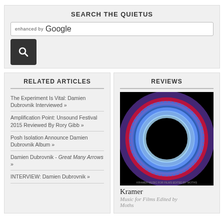SEARCH THE QUIETUS
[Figure (screenshot): Search input box with 'enhanced by Google' label and a search button with magnifying glass icon]
RELATED ARTICLES
The Experiment Is Vital: Damien Dubrovnik Interviewed »
Amplification Point: Unsound Festival 2015 Reviewed By Rory Gibb »
Posh Isolation Announce Damien Dubrovnik Album »
Damien Dubrovnik - Great Many Arrows »
INTERVIEW: Damien Dubrovnik »
REVIEWS
[Figure (photo): Album cover for Kramer - Music for Films Edited by Moths: circular donut/iris-like shape in blue and red on black background]
Kramer
Music for Films Edited by Moths